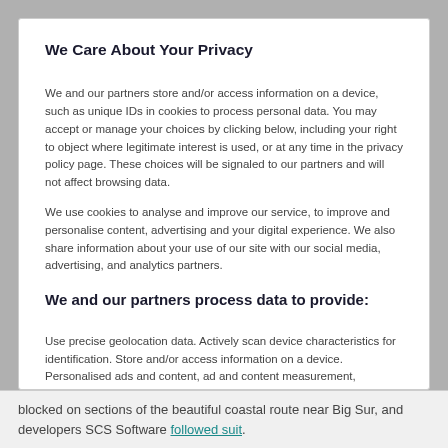We Care About Your Privacy
We and our partners store and/or access information on a device, such as unique IDs in cookies to process personal data. You may accept or manage your choices by clicking below, including your right to object where legitimate interest is used, or at any time in the privacy policy page. These choices will be signaled to our partners and will not affect browsing data.
We use cookies to analyse and improve our service, to improve and personalise content, advertising and your digital experience. We also share information about your use of our site with our social media, advertising, and analytics partners.
We and our partners process data to provide:
Use precise geolocation data. Actively scan device characteristics for identification. Store and/or access information on a device. Personalised ads and content, ad and content measurement, audience insights and product development.
List of Partners (vendors)
blocked on sections of the beautiful coastal route near Big Sur, and developers SCS Software followed suit.